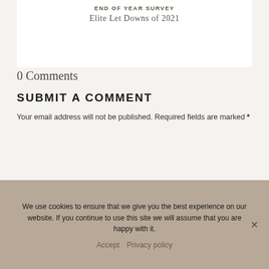END OF YEAR SURVEY
Elite Let Downs of 2021
0 Comments
SUBMIT A COMMENT
Your email address will not be published. Required fields are marked *
Comment *
We use cookies to ensure that we give you the best experience on our website. If you continue to use this site we will assume that you are happy with it.
Accept   Privacy policy